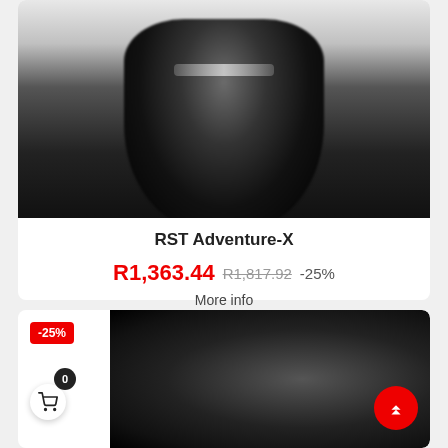[Figure (photo): Black motorcycle glove (RST Adventure-X) shown from back/wrist angle with a silver reflective stripe, blurred product photo on white background]
RST Adventure-X
R1,363.44  R1,817.92  -25%
More info
[Figure (photo): Black motorcycle glove shown from top/dorsal view with knuckle armor details, partial view cropped; -25% badge in top-left corner]
-25%